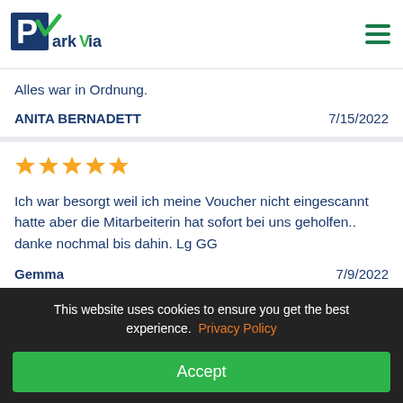[Figure (logo): ParkVia logo with blue P in a blue square, green checkmark, and 'arkvia' text in blue and green]
Alles war in Ordnung.
ANITA BERNADETT    7/15/2022
[Figure (other): 5 gold star rating icons]
Ich war besorgt weil ich meine Voucher nicht eingescannt hatte aber die Mitarbeiterin hat sofort bei uns geholfen.. danke nochmal bis dahin. Lg GG
Gemma    7/9/2022
This website uses cookies to ensure you get the best experience. Privacy Policy
Accept